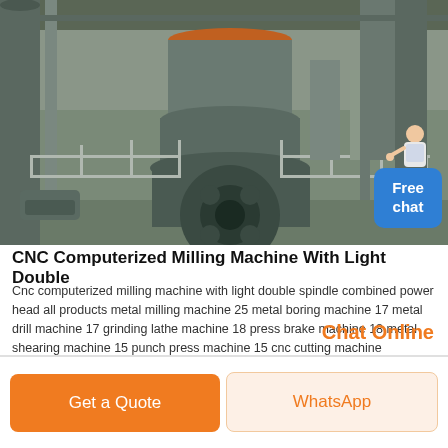[Figure (photo): Industrial CNC milling machine with large cylindrical grinding/milling unit in a factory setting, showing metal machinery, guard rails, and industrial equipment in background]
CNC Computerized Milling Machine With Light Double
Cnc computerized milling machine with light double spindle combined power head all products metal milling machine 25 metal boring machine 17 metal drill machine 17 grinding lathe machine 18 press brake machine 18 metal shearing machine 15 punch press machine 15 cnc cutting machine
Chat Online
Get a Quote
WhatsApp